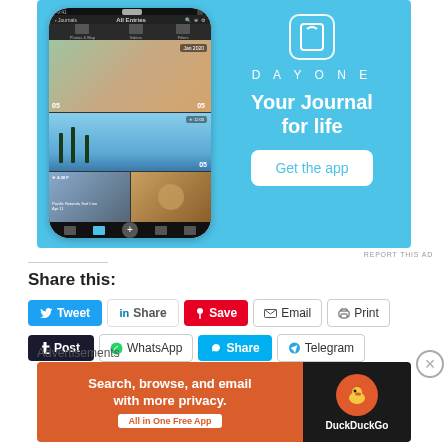[Figure (screenshot): Day One app advertisement banner with light blue background, showing a smartphone with the Day One journal app interface on the left, and on the right the Day One logo (book icon), wordmark DAYONE, tagline 'Your Journal for life', and a white 'Get the app' button.]
REPORT THIS AD
Share this:
Tweet
Share
Save
Email
Print
Post
WhatsApp
Share
Telegram
Advertisements
[Figure (screenshot): DuckDuckGo advertisement banner. Left side has orange background with white bold text 'Search, browse, and email with more privacy.' and a white pill button 'All in One Free App'. Right side is dark/black with orange DuckDuckGo duck logo circle and white text 'DuckDuckGo'.]